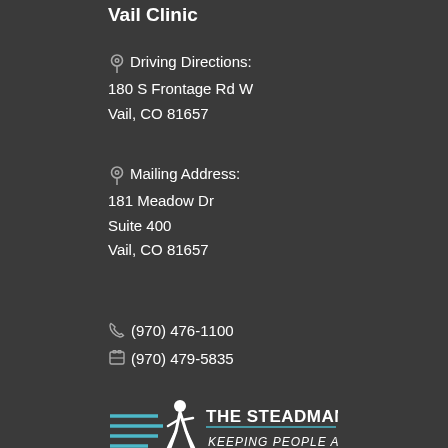Vail Clinic
Driving Directions:
180 S Frontage Rd W
Vail, CO 81657
Mailing Address:
181 Meadow Dr
Suite 400
Vail, CO 81657
(970) 476-1100
(970) 479-5835
[Figure (logo): The Steadman Clinic logo — running athlete silhouette with text 'THE STEADMAN CLINIC' and tagline 'KEEPING PEOPLE ACTIVE']
Contact The Steadman Clinic
Office Hours at All Locations:
Monday-Friday 8am-5pm